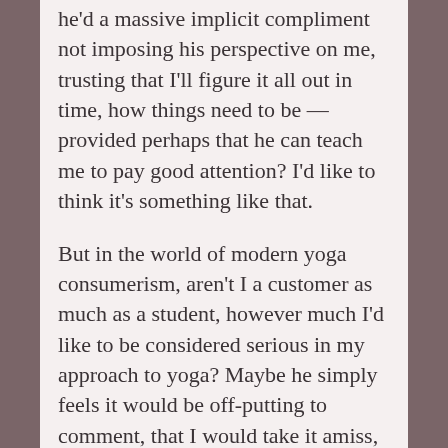he'd a massive implicit compliment not imposing his perspective on me, trusting that I'll figure it all out in time, how things need to be — provided perhaps that he can teach me to pay good attention? I'd like to think it's something like that.
But in the world of modern yoga consumerism, aren't I a customer as much as a student, however much I'd like to be considered serious in my approach to yoga? Maybe he simply feels it would be off-putting to comment, that I would take it amiss, as criticism rather than observation intended to be helpful. Maybe I would take my custom elsewhere, to someone more obviously nice to me?
In any case through circumstances I have been practising a little with a different teacher